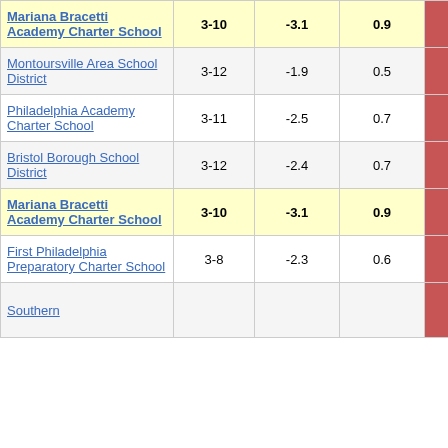| School Name | Grades | Col3 | Col4 | Score |
| --- | --- | --- | --- | --- |
| Mariana Bracetti Academy Charter School | 3-10 | -3.1 | 0.9 | -3.58 |
| Montoursville Area School District | 3-12 | -1.9 | 0.5 | -3.54 |
| Philadelphia Academy Charter School | 3-11 | -2.5 | 0.7 | -3.55 |
| Bristol Borough School District | 3-12 | -2.4 | 0.7 | -3.56 |
| Mariana Bracetti Academy Charter School | 3-10 | -3.1 | 0.9 | -3.58 |
| First Philadelphia Preparatory Charter School | 3-8 | -2.3 | 0.6 | -3.62 |
| Southern |  |  |  |  |